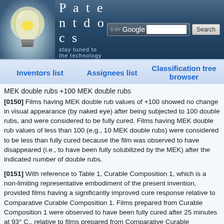[Figure (screenshot): Patentdocs website header with lightbulb logo, site name, tagline 'stay tuned to the technology', and Google search bar]
Inventors list | Assignees list | Classification tree browser
MEK double rubs +100 MEK double rubs
[0150] Films having MEK double rub values of +100 showed no change in visual appearance (by naked eye) after being subjected to 100 double rubs, and were considered to be fully cured. Films having MEK double rub values of less than 100 (e.g., 10 MEK double rubs) were considered to be less than fully cured because the film was observed to have disappeared (i.e., to have been fully solubilized by the MEK) after the indicated number of double rubs.
[0151] With reference to Table 1, Curable Composition 1, which is a non-limiting representative embodiment of the present invention, provided films having a significantly improved cure response relative to Comparative Curable Composition 1. Films prepared from Curable Composition 1 were observed to have been fully cured after 25 minutes at 93° C., relative to films prepared from Comparative Curable